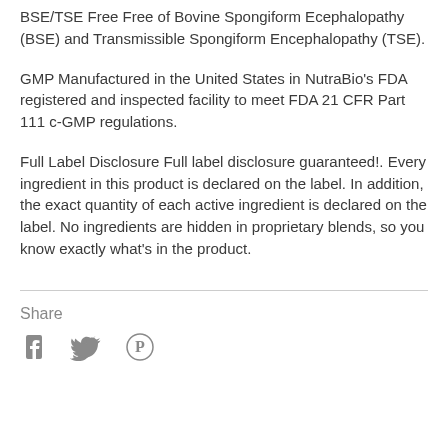BSE/TSE Free Free of Bovine Spongiform Ecephalopathy (BSE) and Transmissible Spongiform Encephalopathy (TSE).
GMP Manufactured in the United States in NutraBio's FDA registered and inspected facility to meet FDA 21 CFR Part 111 c-GMP regulations.
Full Label Disclosure Full label disclosure guaranteed!. Every ingredient in this product is declared on the label. In addition, the exact quantity of each active ingredient is declared on the label. No ingredients are hidden in proprietary blends, so you know exactly what's in the product.
Share
[Figure (illustration): Social media share icons: Facebook (f), Twitter (bird), Pinterest (P)]